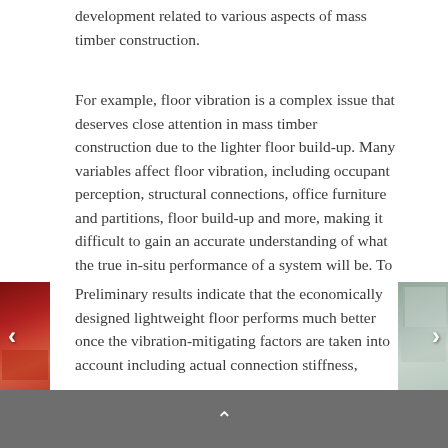development related to various aspects of mass timber construction.
For example, floor vibration is a complex issue that deserves close attention in mass timber construction due to the lighter floor build-up. Many variables affect floor vibration, including occupant perception, structural connections, office furniture and partitions, floor build-up and more, making it difficult to gain an accurate understanding of what the true in-situ performance of a system will be. To assess the various factors, Fast + Epp conducted an extensive sensitivity study including using accelerometers to test full-scale mock-ups and in-situ structure during separate construction stages (bare wood floor, wood floor with topping and wood floor with full interiors fit-out).
Preliminary results indicate that the economically designed lightweight floor performs much better once the vibration-mitigating factors are taken into account including actual connection stiffness, concrete topping stiffness and the testing of the system as a whole, rather than just a
[Figure (photo): Two partial photos visible at the sides: left side shows a red/orange construction element, right side shows a building exterior with light-colored facade.]